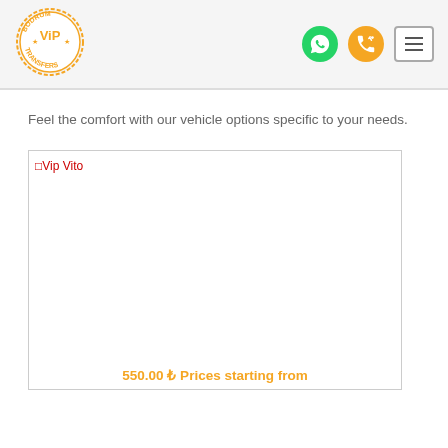Bodrum VIP Transfers logo, WhatsApp icon, phone icon, menu icon
Feel the comfort with our vehicle options specific to your needs.
[Figure (photo): Broken image placeholder for 'Vip Vito' vehicle photo with orange price text below reading '550.00 ₺ Prices starting from']
550.00 ₺ Prices starting from